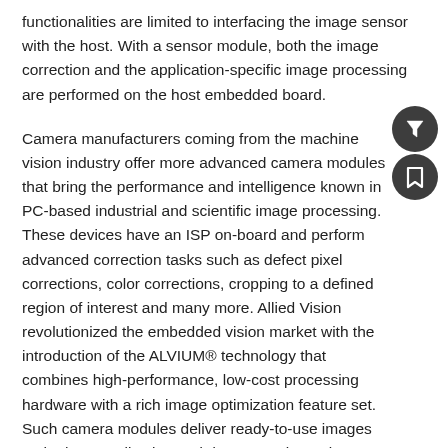functionalities are limited to interfacing the image sensor with the host. With a sensor module, both the image correction and the application-specific image processing are performed on the host embedded board.
Camera manufacturers coming from the machine vision industry offer more advanced camera modules that bring the performance and intelligence known in PC-based industrial and scientific image processing. These devices have an ISP on-board and perform advanced correction tasks such as defect pixel corrections, color corrections, cropping to a defined region of interest and many more. Allied Vision revolutionized the embedded vision market with the introduction of the ALVIUM® technology that combines high-performance, low-cost processing hardware with a rich image optimization feature set. Such camera modules deliver ready-to-use images to the host application and do not require an image sensing processor on the host side.